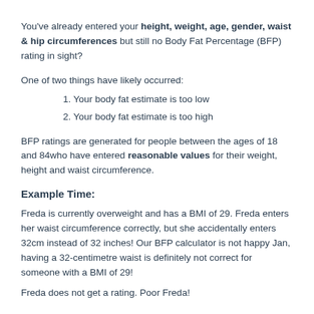You've already entered your height, weight, age, gender, waist & hip circumferences but still no Body Fat Percentage (BFP) rating in sight?
One of two things have likely occurred:
1. Your body fat estimate is too low
2. Your body fat estimate is too high
BFP ratings are generated for people between the ages of 18 and 84who have entered reasonable values for their weight, height and waist circumference.
Example Time:
Freda is currently overweight and has a BMI of 29. Freda enters her waist circumference correctly, but she accidentally enters 32cm instead of 32 inches! Our BFP calculator is not happy Jan, having a 32-centimetre waist is definitely not correct for someone with a BMI of 29!
Freda does not get a rating. Poor Freda!